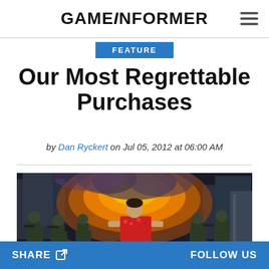GAMEINFORMER
FEATURE
Our Most Regrettable Purchases
by Dan Ryckert on Jul 05, 2012 at 06:00 AM
[Figure (screenshot): Video game screenshot showing a character in a red Hawaiian shirt surrounded by armed soldiers in an urban explosion scene]
SHARE   FOLLOW US